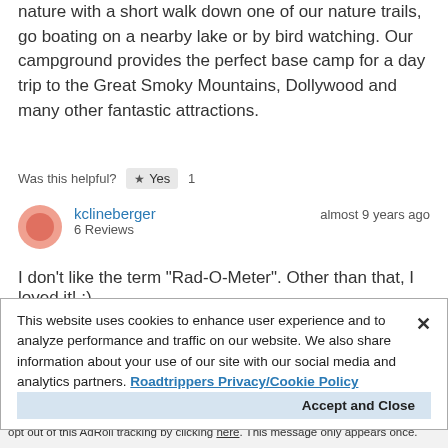nature with a short walk down one of our nature trails, go boating on a nearby lake or by bird watching. Our campground provides the perfect base camp for a day trip to the Great Smoky Mountains, Dollywood and many other fantastic attractions.
Was this helpful? ★ Yes 1
kclineberger   almost 9 years ago
6 Reviews
I don't like the term "Rad-O-Meter". Other than that, I loved it! ;)
Was this helpful? ★ Yes 1
This website uses cookies to enhance user experience and to analyze performance and traffic on our website. We also share information about your use of our site with our social media and analytics partners. Roadtrippers Privacy/Cookie Policy
Accept and Close
Your browser settings do not allow cross-site tracking for advertising. Click on this page to allow AdRoll to use cross-site tracking to tailor ads to you. Learn more or opt out of this AdRoll tracking by clicking here. This message only appears once.